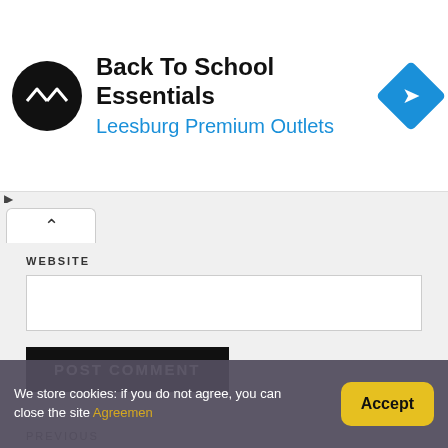[Figure (screenshot): Ad banner for Back To School Essentials at Leesburg Premium Outlets with logo and navigation diamond icon]
WEBSITE
[Figure (screenshot): Empty website input text field]
POST COMMENT
PREVIOUS
How To Paint Concrete Block Walls
We store cookies: if you do not agree, you can close the site Agreemen
Accept